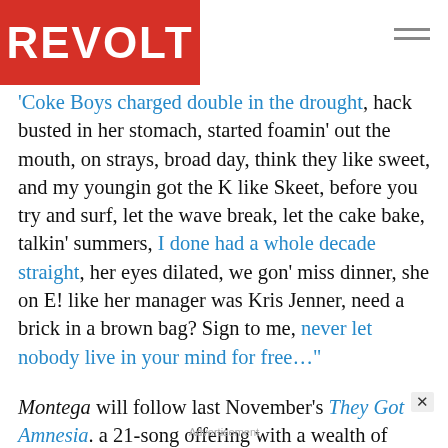REVOLT
'Coke Boys charged double in the drought', hack busted in her stomach, started foamin' out the mouth, on strays, broad day, think they like sweet, and my youngin got the K like Skeet, before you try and surf, let the wave break, let the cake bake, talkin' summers, I done had a whole decade straight, her eyes dilated, we gon' miss dinner, she on E! like her manager was Kris Jenner, need a brick in a brown bag? Sign to me, never let nobody live in your mind for free…"
Montega will follow last November's They Got Amnesia. a 21-song offering with a wealth of contributions from John Legend, Rick Ross, Kodak Black, Pop Smoke, Lil Durk, Doja Cat, Saweetie, Fivio Foreign, Fabolous, Gucci mane, 42 Dugg, and